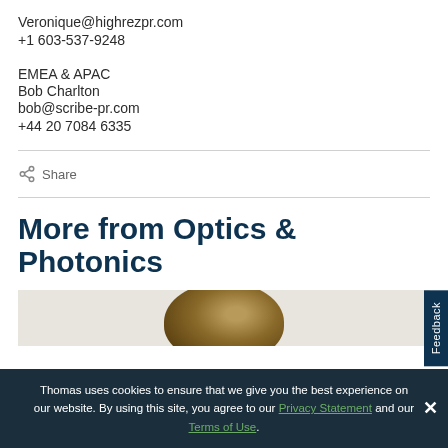Veronique@highrezpr.com
+1 603-537-9248
EMEA & APAC
Bob Charlton
bob@scribe-pr.com
+44 20 7084 6335
Share
More from Optics & Photonics
[Figure (photo): Partial view of a metallic optics/photonics component]
Thomas uses cookies to ensure that we give you the best experience on our website. By using this site, you agree to our Privacy Statement and our Terms of Use.
Feedback